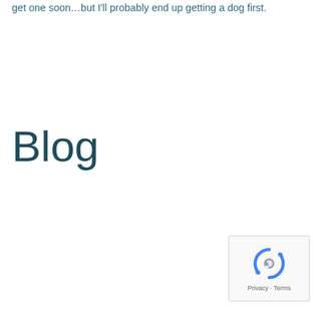get one soon…but I'll probably end up getting a dog first.
Blog
[Figure (other): reCAPTCHA widget with circular arrows logo and Privacy - Terms text]